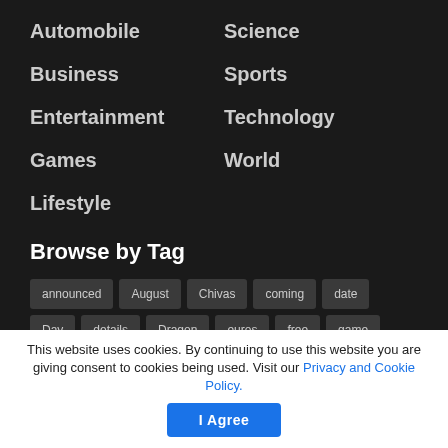Automobile
Business
Entertainment
Games
Lifestyle
Science
Sports
Technology
World
Browse by Tag
announced
August
Chivas
coming
date
Day
details
Dragon
euros
free
game
Games
International football
July
Liga MX
Live
Marvel
Mexican Soccer
million
mobile
Netflix
news
This website uses cookies. By continuing to use this website you are giving consent to cookies being used. Visit our Privacy and Cookie Policy.